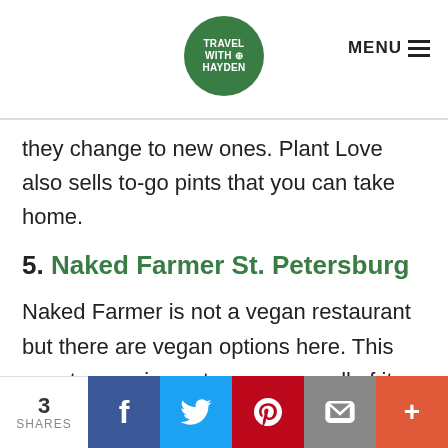TRAVEL WITH HAYDEN | MENU
they change to new ones. Plant Love also sells to-go pints that you can take home.
5. Naked Farmer St. Petersburg
Naked Farmer is not a vegan restaurant but there are vegan options here. This counter-service eatery sources all of its food from local farms with very high-quality food. They have multiple pre-designed vegan options for you or you can design your own bowl.